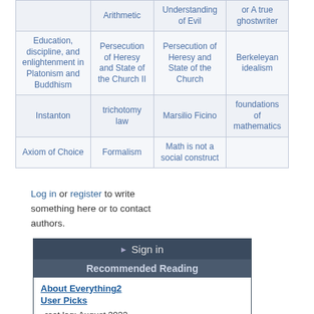| [truncated top] | Arithmetic | Understanding of Evil | or A true ghostwriter |
| Education, discipline, and enlightenment in Platonism and Buddhism | Persecution of Heresy and State of the Church II | Persecution of Heresy and State of the Church | Berkeleyan idealism |
| Instanton | trichotomy law | Marsilio Ficino | foundations of mathematics |
| Axiom of Choice | Formalism | Math is not a social construct |  |
Log in or register to write something here or to contact authors.
Sign in
Recommended Reading
About Everything2
User Picks
root log: August 2022
The Sandman